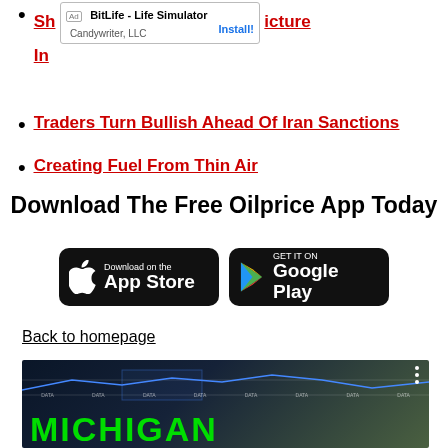Sh...icture In... [Ad: BitLife - Life Simulator, Candywriter LLC, Install!]
Traders Turn Bullish Ahead Of Iran Sanctions
Creating Fuel From Thin Air
Download The Free Oilprice App Today
[Figure (other): App Store download button (black rounded rectangle with Apple logo)]
[Figure (other): Google Play download button (black rounded rectangle with Play logo)]
Back to homepage
[Figure (screenshot): Dark screenshot showing financial chart data with MICHIGAN text in green at the bottom]